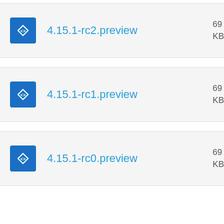4.15.1-rc2.preview
4.15.1-rc1.preview
4.15.1-rc0.preview